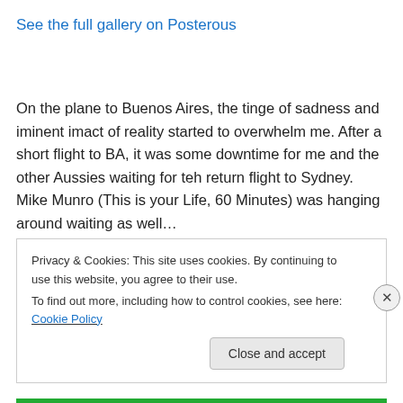See the full gallery on Posterous
On the plane to Buenos Aires, the tinge of sadness and iminent imact of reality started to overwhelm me. After a short flight to BA, it was some downtime for me and the other Aussies waiting for teh return flight to Sydney. Mike Munro (This is your Life, 60 Minutes) was hanging around waiting as well…
Privacy & Cookies: This site uses cookies. By continuing to use this website, you agree to their use.
To find out more, including how to control cookies, see here: Cookie Policy
Close and accept